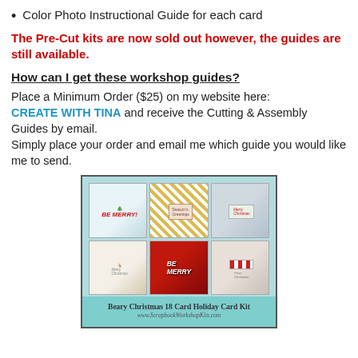Color Photo Instructional Guide for each card
The Pre-Cut kits are now sold out however, the guides are still available.
How can I get these workshop guides?
Place a Minimum Order ($25) on my website here: CREATE WITH TINA and receive the Cutting & Assembly Guides by email.
Simply place your order and email me which guide you would like me to send.
[Figure (photo): Beary Christmas 18 Card Holiday Card Kit - a grid of 6 Christmas card designs in red, green, and white, with a teal banner caption at the bottom. Caption reads 'Beary Christmas 18 Card Holiday Card Kit' and 'www.ScrapbookWorkshopKits.com']